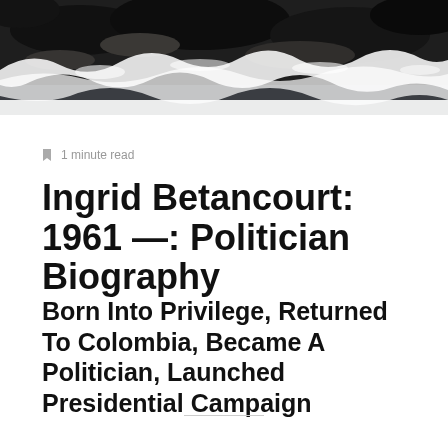[Figure (photo): Aerial or close-up photo of ocean waves crashing on dark rocks, black and white/monochrome tones]
1 minute read
Ingrid Betancourt: 1961 —: Politician Biography
Born Into Privilege, Returned To Colombia, Became A Politician, Launched Presidential Campaign